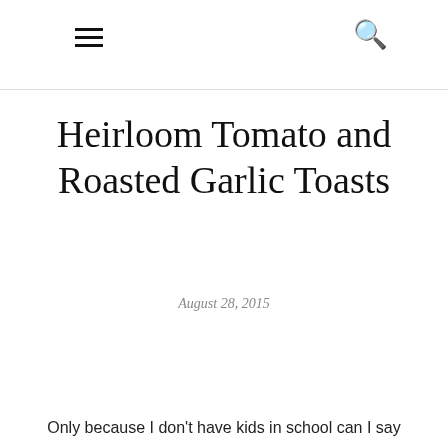☰ 🔍
Heirloom Tomato and Roasted Garlic Toasts
August 28, 2015
Only because I don't have kids in school can I say